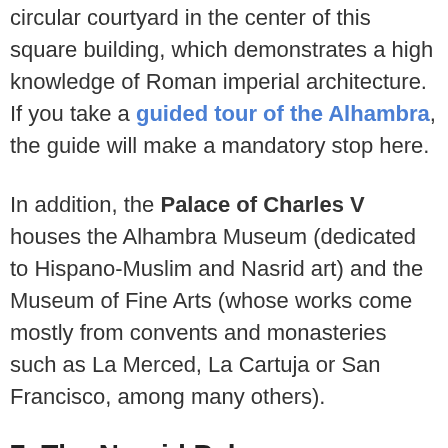circular courtyard in the center of this square building, which demonstrates a high knowledge of Roman imperial architecture. If you take a guided tour of the Alhambra, the guide will make a mandatory stop here.
In addition, the Palace of Charles V houses the Alhambra Museum (dedicated to Hispano-Muslim and Nasrid art) and the Museum of Fine Arts (whose works come mostly from convents and monasteries such as La Merced, La Cartuja or San Francisco, among many others).
7. The Nasrid Pal...